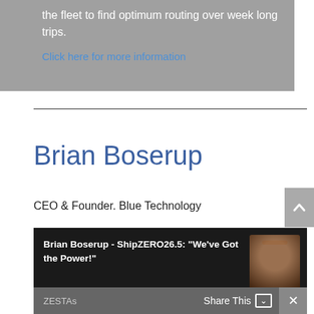the fleet to find optimum routing over week long trips.
Click here for more information
Brian Boserup
CEO & Founder. Blue Technology
[Figure (screenshot): Video thumbnail with dark background showing title 'Brian Boserup - ShipZERO26.5: "We've Got the Power!"' with a person's face visible on the right side]
ZESTAs
Share This